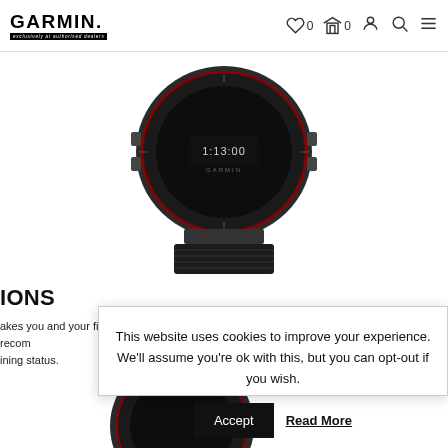GARMIN — navigation bar with wishlist (0), cart (0), account, search, menu icons
[Figure (photo): Garmin smartwatch shown from the side/bottom angle, dark grey with black woven band, display showing 1:13:00, against white background]
IONS
akes you and your fitness level into account, get daily run and ride recom
ining status.
This website uses cookies to improve your experience. We'll assume you're ok with this, but you can opt-out if you wish. Accept  Read More
[Figure (photo): Partial view of another Garmin smartwatch at the bottom of the page]